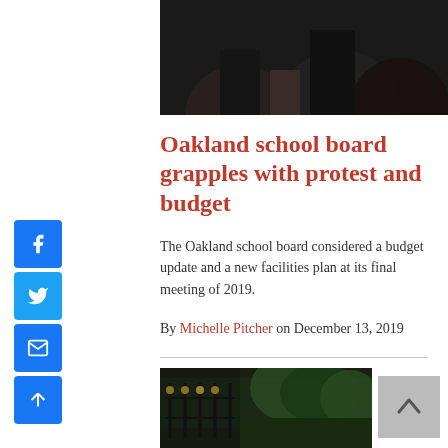[Figure (photo): Top portion of a photo showing dark background, appears to be people at a meeting]
Oakland school board grapples with protest and budget
The Oakland school board considered a budget update and a new facilities plan at its final meeting of 2019.
By Michelle Pitcher on December 13, 2019
[Figure (photo): Bottom photo showing an ornate metal gate or fence with trees in background]